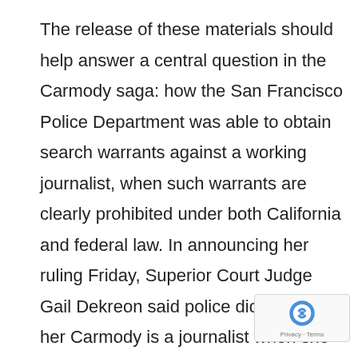The release of these materials should help answer a central question in the Carmody saga: how the San Francisco Police Department was able to obtain search warrants against a working journalist, when such warrants are clearly prohibited under both California and federal law. In announcing her ruling Friday, Superior Court Judge Gail Dekreon said police did not inform her Carmody is a journalist when she authorized a search of his home; the forthcoming records should further explain what police did — and did not — tell other judges when applying for warrants.

The rulings were in response to a motion brought by First